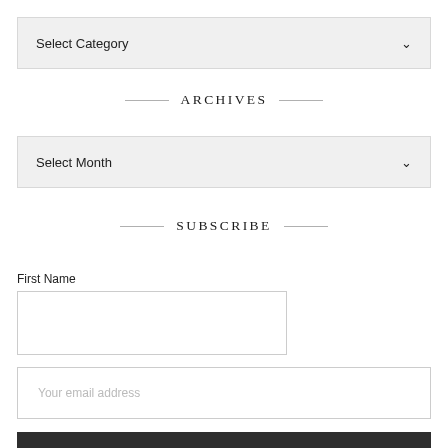Select Category
ARCHIVES
Select Month
SUBSCRIBE
First Name
Your email address
Sign up